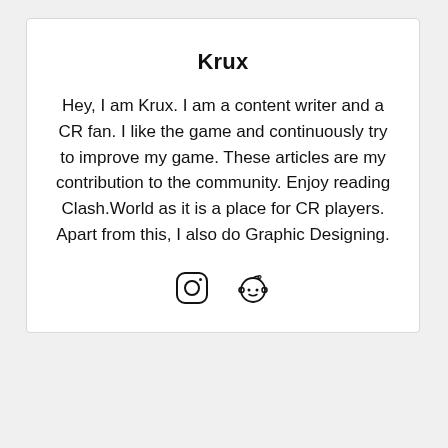Krux
Hey, I am Krux. I am a content writer and a CR fan. I like the game and continuously try to improve my game. These articles are my contribution to the community. Enjoy reading Clash.World as it is a place for CR players. Apart from this, I also do Graphic Designing.
[Figure (illustration): Instagram icon (circle with rounded square camera outline) and Reddit alien icon side by side as social media links]